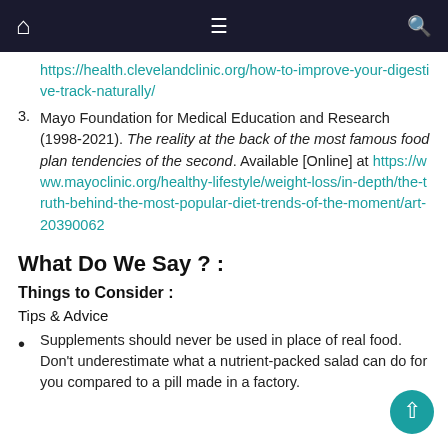Navigation bar with home, menu, and search icons
https://health.clevelandclinic.org/how-to-improve-your-digestive-track-naturally/
3. Mayo Foundation for Medical Education and Research (1998-2021). The reality at the back of the most famous food plan tendencies of the second. Available [Online] at https://www.mayoclinic.org/healthy-lifestyle/weight-loss/in-depth/the-truth-behind-the-most-popular-diet-trends-of-the-moment/art-20390062
What Do We Say ? :
Things to Consider :
Tips & Advice
Supplements should never be used in place of real food. Don't underestimate what a nutrient-packed salad can do for you compared to a pill made in a factory.